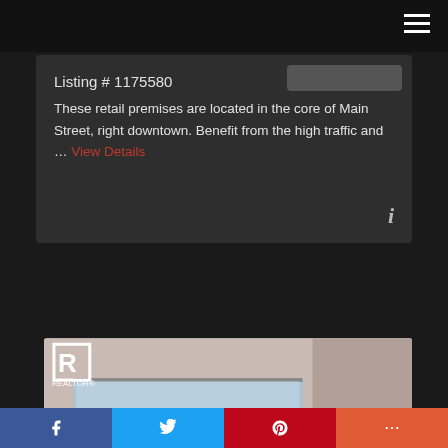Listing # 1175580
These retail premises are located in the core of Main Street, right downtown. Benefit from the high traffic and … View Details
[Figure (photo): Street-level photo of a retail storefront with REALTOR logo watermark, showing storefronts with blue signage]
f  Twitter  P  +